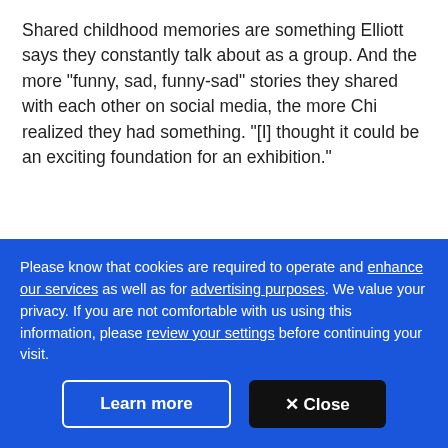Shared childhood memories are something Elliott says they constantly talk about as a group. And the more "funny, sad, funny-sad" stories they shared with each other on social media, the more Chi realized they had something. "[I] thought it could be an exciting foundation for an exhibition."
“I really want people to come together [...]
Please know that cookies are required to operate and enhance our services as well as for advertising purposes. We value your privacy. If you are not comfortable with us using this information, please review your settings before continuing your visit.